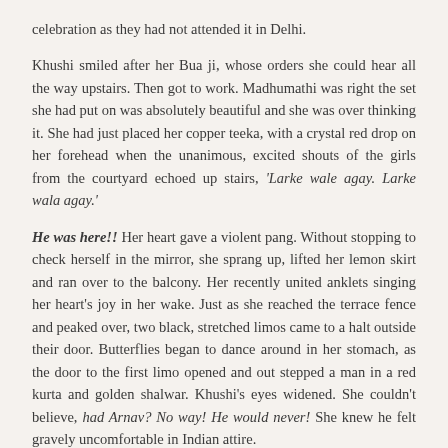celebration as they had not attended it in Delhi.
Khushi smiled after her Bua ji, whose orders she could hear all the way upstairs. Then got to work. Madhumathi was right the set she had put on was absolutely beautiful and she was over thinking it. She had just placed her copper teeka, with a crystal red drop on her forehead when the unanimous, excited shouts of the girls from the courtyard echoed up stairs, 'Larke wale agay. Larke wala agay.'
He was here!! Her heart gave a violent pang. Without stopping to check herself in the mirror, she sprang up, lifted her lemon skirt and ran over to the balcony. Her recently united anklets singing her heart's joy in her wake. Just as she reached the terrace fence and peaked over, two black, stretched limos came to a halt outside their door. Butterflies began to dance around in her stomach, as the door to the first limo opened and out stepped a man in a red kurta and golden shalwar. Khushi's eyes widened. She couldn't believe, had Arnav? No way! He would never! She knew he felt gravely uncomfortable in Indian attire.